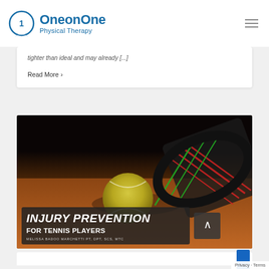OneonOne Physical Therapy
tighter than ideal and may already [...]
Read More >
[Figure (photo): Tennis ball and racket on a clay court surface with dark background. Overlay text reads: INJURY PREVENTION FOR TENNIS PLAYERS by Melissa Badoo Marchetti PT, DPT, SCS, MTC]
Privacy • Terms